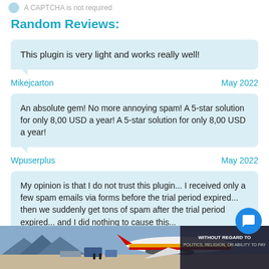A CAPTCHA is not required
Random Reviews:
This plugin is very light and works really well!
Mikejcarton                                                          May 2022
An absolute gem! No more annoying spam! A 5-star solution for only 8,00 USD a year! A 5-star solution for only 8,00 USD a year!
Wpuserplus                                                           May 2022
My opinion is that I do not trust this plugin... I received only a few spam emails via forms before the trial period expired... then we suddenly get tons of spam after the trial period expired... and I did nothing to cause this...
[Figure (photo): Advertisement banner showing an airplane being loaded with cargo, with text 'WITHOUT REGARD TO POLITICS, RELIGION, OR ABILITY TO PAY']